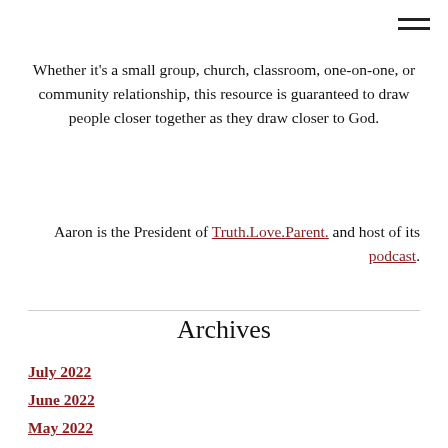Whether it's a small group, church, classroom, one-on-one, or community relationship, this resource is guaranteed to draw people closer together as they draw closer to God.
Aaron is the President of Truth.Love.Parent. and host of its podcast.
Archives
July 2022
June 2022
May 2022
April 2022
March 2022
February 2022
January 2022
December 2021